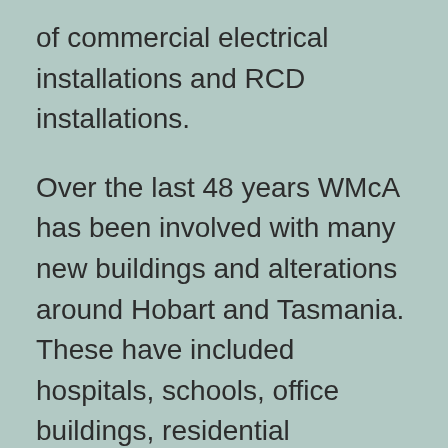of commercial electrical installations and RCD installations.
Over the last 48 years WMcA has been involved with many new buildings and alterations around Hobart and Tasmania. These have included hospitals, schools, office buildings, residential developments, clubs, arenas, hostels and large commercial developments. We have established an excellent reputation in these area of work.
D&L has also branched into building automation. We have completed several